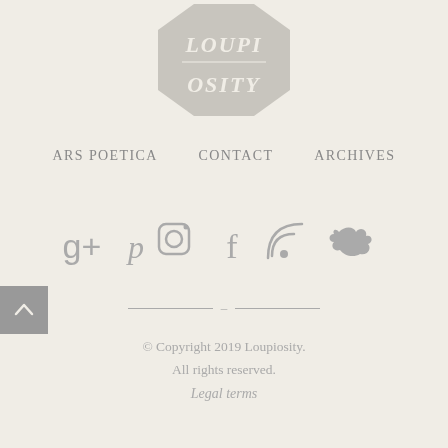[Figure (logo): Loupiosity octagon logo in grey with text LOUPIOSITY inside a stop-sign shaped octagon]
ARS POETICA   CONTACT   ARCHIVES
[Figure (infographic): Row of social media icons: Google+, Pinterest, Instagram, Facebook, RSS, Twitter — all in grey]
[Figure (other): Horizontal decorative divider with two lines separated by a dash]
© Copyright 2019 Loupiosity. All rights reserved. Legal terms